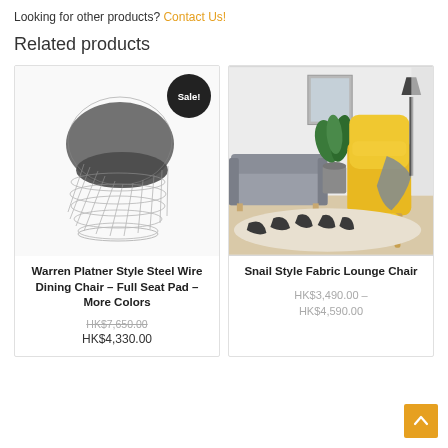Looking for other products? Contact Us!
Related products
[Figure (photo): Warren Platner Style Steel Wire Dining Chair with Sale! badge]
Warren Platner Style Steel Wire Dining Chair – Full Seat Pad – More Colors
HK$7,650.00 (strikethrough) HK$4,330.00
[Figure (photo): Snail Style Fabric Lounge Chair in yellow with ottoman in a living room setting]
Snail Style Fabric Lounge Chair
HK$3,490.00 – HK$4,590.00